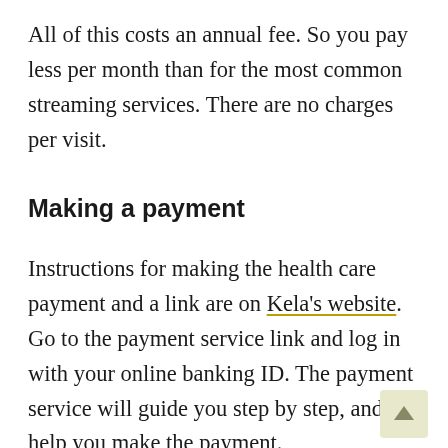All of this costs an annual fee. So you pay less per month than for the most common streaming services. There are no charges per visit.
Making a payment
Instructions for making the health care payment and a link are on Kela's website. Go to the payment service link and log in with your online banking ID. The payment service will guide you step by step, and help you make the payment.